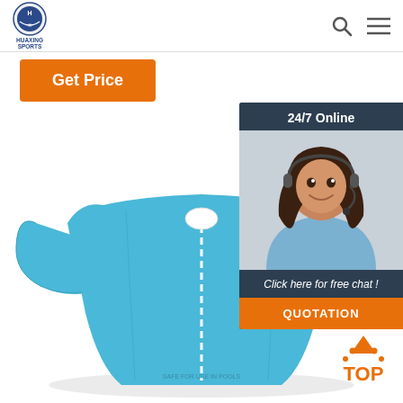[Figure (logo): Huaxing Sports logo - circular emblem with blue and white design, text HUAXING SPORTS below]
Get Price
[Figure (photo): Blue inflatable children's swim vest/jacket with zipper front, light blue color with foam padding panels and arm support]
[Figure (photo): Customer service agent - woman with headset smiling, 24/7 Online chat widget with dark blue background]
24/7 Online
Click here for free chat !
QUOTATION
[Figure (other): TOP scroll-to-top button with orange dots arc above and orange TOP text]